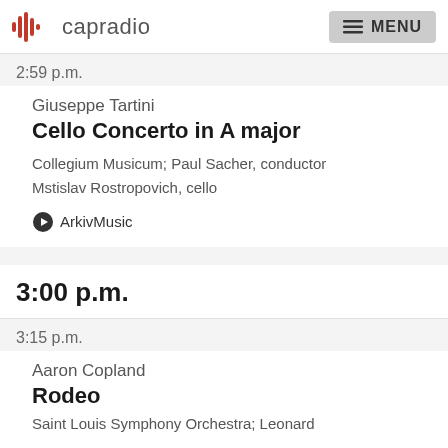capradio  MENU
2:59 p.m.
Giuseppe Tartini
Cello Concerto in A major
Collegium Musicum; Paul Sacher, conductor
Mstislav Rostropovich, cello
ArkivMusic
3:00 p.m.
3:15 p.m.
Aaron Copland
Rodeo
Saint Louis Symphony Orchestra; Leonard